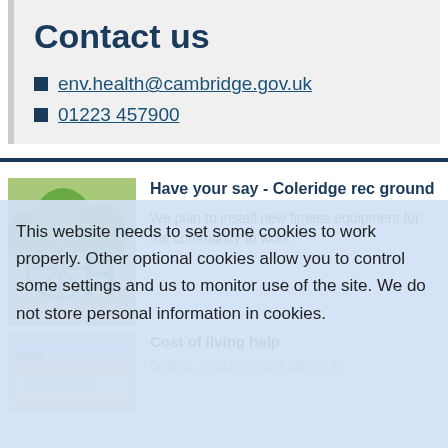Contact us
env.health@cambridge.gov.uk
01223 457900
[Figure (photo): Outdoor playground equipment — a spinning wheel/carousel and climbing frame in a green park setting]
Have your say - Coleridge rec ground
We plan to install new fitness equipment for the community to work
This website needs to set some cookies to work properly. Other optional cookies allow you to control some settings and us to monitor use of the site. We do not store personal information in cookies.
[Figure (photo): Stack of colourful paper/documents related to income or financial support]
Cost of living help
Grants, vouchers and advice to